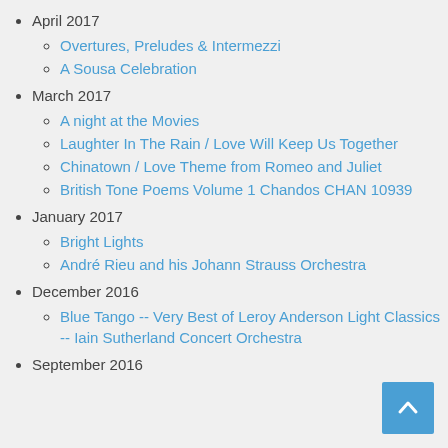April 2017
Overtures, Preludes & Intermezzi
A Sousa Celebration
March 2017
A night at the Movies
Laughter In The Rain / Love Will Keep Us Together
Chinatown / Love Theme from Romeo and Juliet
British Tone Poems Volume 1 Chandos CHAN 10939
January 2017
Bright Lights
André Rieu and his Johann Strauss Orchestra
December 2016
Blue Tango -- Very Best of Leroy Anderson Light Classics -- Iain Sutherland Concert Orchestra
September 2016